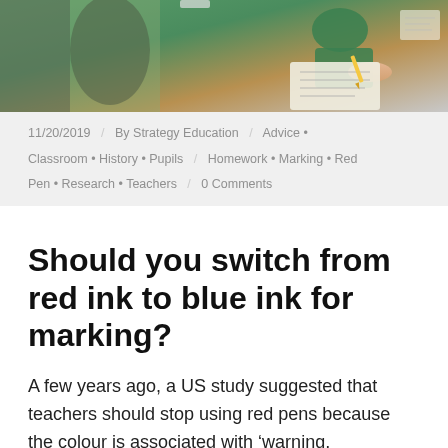[Figure (photo): Teacher in green top marking papers in a classroom setting, viewed from behind a student]
11/20/2019 / By Strategy Education / Advice · Classroom · History · Pupils / Homework · Marking · Red Pen · Research · Teachers / 0 Comments
Should you switch from red ink to blue ink for marking?
A few years ago, a US study suggested that teachers should stop using red pens because the colour is associated with 'warning, prohibition, caution, anger, embarrassment and being wrong'.